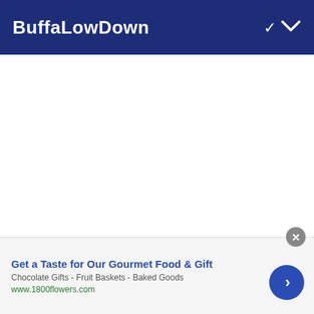BuffaLowDown
Beane would go on to talk about the impact past the
Get a Taste for Our Gourmet Food & Gift
Chocolate Gifts - Fruit Baskets - Baked Goods
www.1800flowers.com